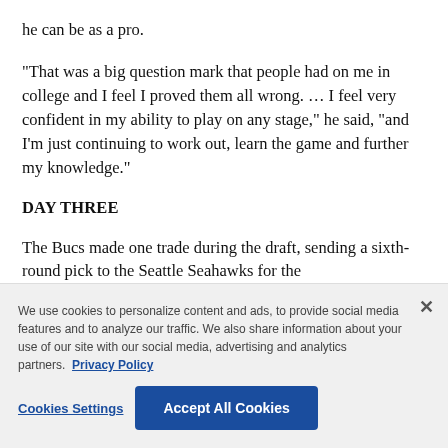he can be as a pro.
“That was a big question mark that people had on me in college and I feel I proved them all wrong. … I feel very confident in my ability to play on any stage,” he said, “and I’m just continuing to work out, learn the game and further my knowledge.”
DAY THREE
The Bucs made one trade during the draft, sending a sixth-round pick to the Seattle Seahawks for the
[faded/obscured text behind cookie overlay]
We use cookies to personalize content and ads, to provide social media features and to analyze our traffic. We also share information about your use of our site with our social media, advertising and analytics partners.  Privacy Policy
Cookies Settings   Accept All Cookies